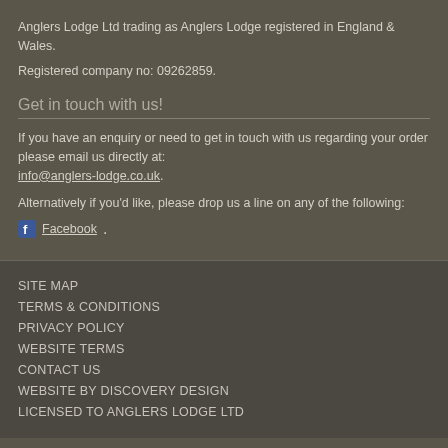Anglers Lodge Ltd trading as Anglers Lodge registered in England & Wales.
Registered company no: 09262859.
Get in touch with us!
If you have an enquiry or need to get in touch with us regarding your order please email us directly at: info@anglers-lodge.co.uk.
Alternatively if you'd like, please drop us a line on any of the following:
Facebook
SITE MAP
TERMS & CONDITIONS
PRIVACY POLICY
WEBSITE TERMS
CONTACT US
WEBSITE BY DISCOVERY DESIGN
LICENSED TO ANGLERS LODGE LTD